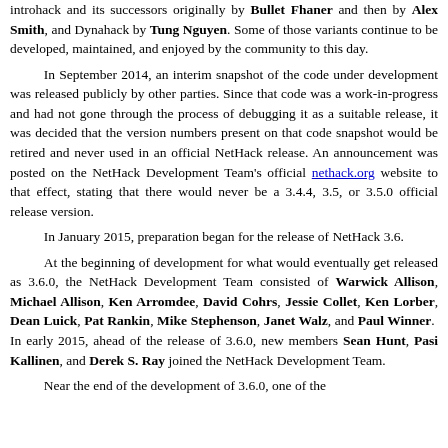introhack and its successors originally by Bullet Fhaner and then by Alex Smith, and Dynahack by Tung Nguyen. Some of those variants continue to be developed, maintained, and enjoyed by the community to this day.
In September 2014, an interim snapshot of the code under development was released publicly by other parties. Since that code was a work-in-progress and had not gone through the process of debugging it as a suitable release, it was decided that the version numbers present on that code snapshot would be retired and never used in an official NetHack release. An announcement was posted on the NetHack Development Team's official nethack.org website to that effect, stating that there would never be a 3.4.4, 3.5, or 3.5.0 official release version.
In January 2015, preparation began for the release of NetHack 3.6.
At the beginning of development for what would eventually get released as 3.6.0, the NetHack Development Team consisted of Warwick Allison, Michael Allison, Ken Arromdee, David Cohrs, Jessie Collet, Ken Lorber, Dean Luick, Pat Rankin, Mike Stephenson, Janet Walz, and Paul Winner. In early 2015, ahead of the release of 3.6.0, new members Sean Hunt, Pasi Kallinen, and Derek S. Ray joined the NetHack Development Team.
Near the end of the development of 3.6.0, one of the